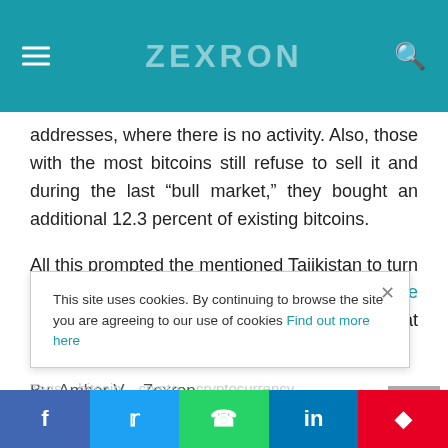ZEXRON
addresses, where there is no activity. Also, those with the most bitcoins still refuse to sell it and during the last “bull market,” they bought an additional 12.3 percent of existing bitcoins.

All this prompted the mentioned Tajikistan to turn to the domicile cryptocurrency, that is, to create it. That way, GDP could certainly increase - at least in theory.
By: Amber V. - Zexron
Tags  bitcoin  crypto  cryptocurrency
This site uses cookies. By continuing to browse the site you are agreeing to our use of cookies Find out more here